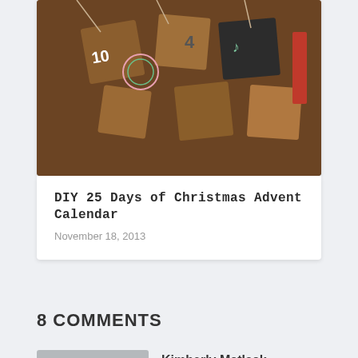[Figure (photo): Photo of DIY Christmas advent calendar made from brown paper bags/boxes hanging with numbers and decorative stickers]
DIY 25 Days of Christmas Advent Calendar
November 18, 2013
8 COMMENTS
[Figure (photo): Gray silhouette avatar placeholder image for commenter Kimberly Matlack]
Kimberly Matlack on October 6, 2016 at 11:05 pm
I just saw this recipe the other day on a blog. I got out my waffle maker and made